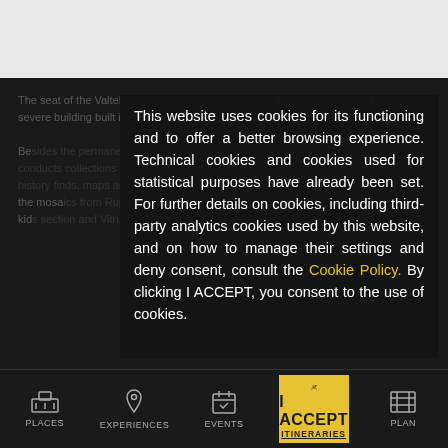This website uses cookies for its functioning and to offer a better browsing experience. Technical cookies and cookies used for statistical purposes have already been set. For further details on cookies, including third-party analytics cookies used by this website, and on how to manage their settings and deny consent, consult the Cookie Policy. By clicking I ACCEPT, you consent to the use of cookies.
PLACES | EXPERIENCES | EVENTS | I ACCEPT ITINERARIES | PLAN